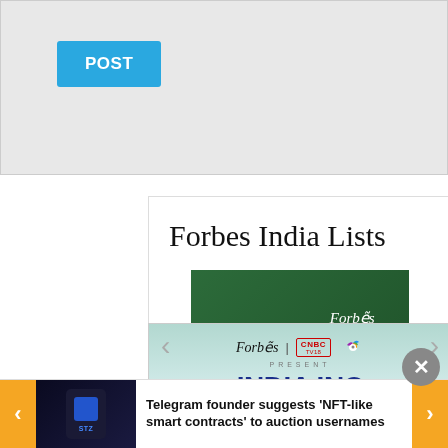[Figure (screenshot): Gray post input area with blue POST button]
[Figure (screenshot): Forbes India Lists carousel card showing 'Forbes India Digital Stars' banner with navigation arrows]
Forbes India Lists
[Figure (screenshot): India Inc On The Move promotional card with Forbes and CNBC TV18 logos on teal/mint background]
Telegram founder suggests 'NFT-like smart contracts' to auction usernames